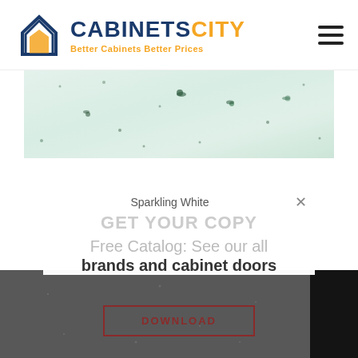[Figure (logo): CabinetsCity logo with house/cabinet icon in blue and orange, text CABINETS in dark blue and CITY in orange, tagline 'Better Cabinets Better Prices' in orange]
[Figure (photo): Sparkling White quartz countertop texture — light mint/green background with scattered dark green and teal mineral specks]
Sparkling White
GET YOUR COPY
Free Catalog: See our all brands and cabinet doors
[Figure (photo): Dark gray speckled granite/stone texture on the left, black stone texture on the right]
DOWNLOAD